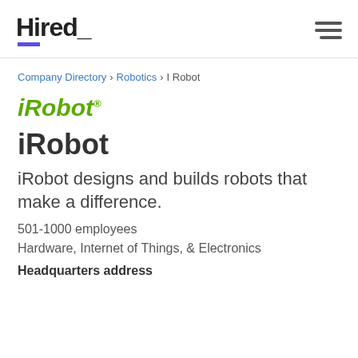Hired_
Company Directory > Robotics > I Robot
[Figure (logo): iRobot company logo in green italic bold text with trademark symbol]
iRobot
iRobot designs and builds robots that make a difference.
501-1000 employees
Hardware, Internet of Things, & Electronics
Headquarters address